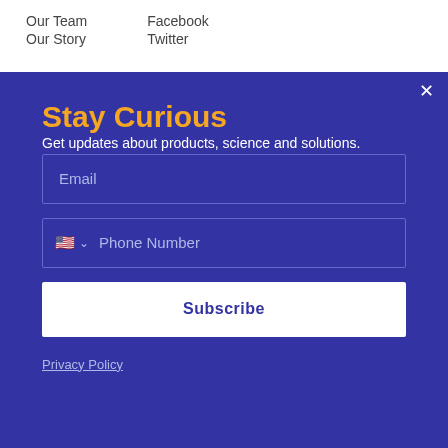Our Team
Facebook
Our Story
Twitter
Stay Curious
Get updates about products, science and solutions.
Email
Phone Number
Subscribe
Privacy Policy